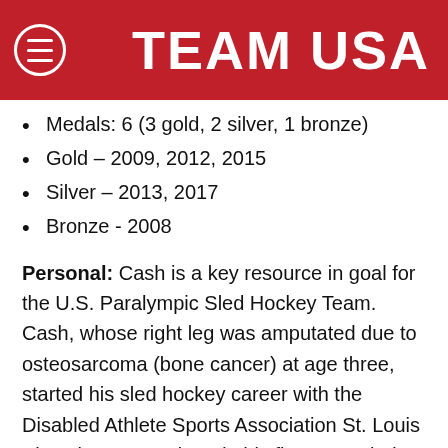TEAM USA
Medals: 6 (3 gold, 2 silver, 1 bronze)
Gold – 2009, 2012, 2015
Silver – 2013, 2017
Bronze - 2008
Personal: Cash is a key resource in goal for the U.S. Paralympic Sled Hockey Team. Cash, whose right leg was amputated due to osteosarcoma (bone cancer) at age three, started his sled hockey career with the Disabled Athlete Sports Association St. Louis Blues in 2004 and made his first U.S. Sled Hockey National Team in 2005. In 2009, he was named the USOC's Paralympic SportsMan of the Year. Following the